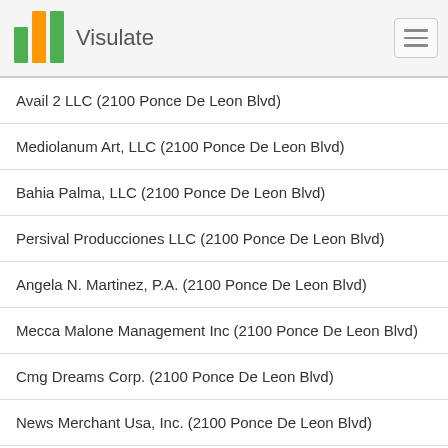Visulate
Avail 2 LLC (2100 Ponce De Leon Blvd)
Mediolanum Art, LLC (2100 Ponce De Leon Blvd)
Bahia Palma, LLC (2100 Ponce De Leon Blvd)
Persival Producciones LLC (2100 Ponce De Leon Blvd)
Angela N. Martinez, P.A. (2100 Ponce De Leon Blvd)
Mecca Malone Management Inc (2100 Ponce De Leon Blvd)
Cmg Dreams Corp. (2100 Ponce De Leon Blvd)
News Merchant Usa, Inc. (2100 Ponce De Leon Blvd)
Simbiosis M&C Usa, Inc. (2100 Ponce De Leon Blvd)
Db Trap Records, Inc. (2100 Ponce De Leon Blvd)